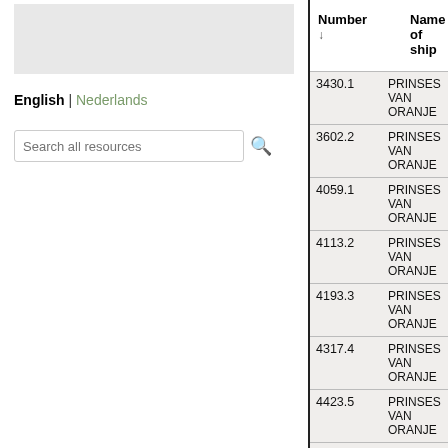[Figure (screenshot): Gray placeholder box at top left of page]
English | Nederlands
Search all resources
| Number ↓ | Name of ship |
| --- | --- |
| 3430.1 | PRINSES VAN ORANJE |
| 3602.2 | PRINSES VAN ORANJE |
| 4059.1 | PRINSES VAN ORANJE |
| 4113.2 | PRINSES VAN ORANJE |
| 4193.3 | PRINSES VAN ORANJE |
| 4317.4 | PRINSES VAN ORANJE |
| 4423.5 | PRINSES VAN ORANJE |
| 7315.1 | PRINSES VAN ORANJE |